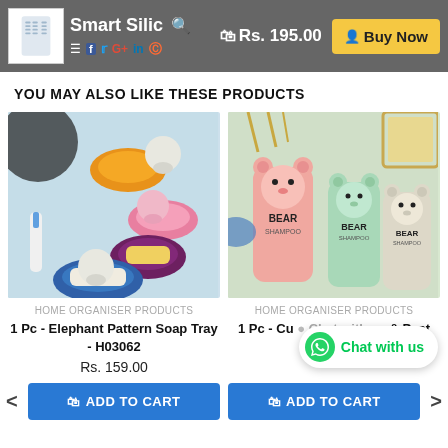Smart Silic | Rs. 195.00 | Buy Now
YOU MAY ALSO LIKE THESE PRODUCTS
[Figure (photo): Elephant pattern soap trays in various colors (blue, pink, orange) mounted on a wall, with a white soap bar in the purple tray]
HOME ORGANISER PRODUCTS
1 Pc - Elephant Pattern Soap Tray - H03062
Rs. 159.00
[Figure (photo): Bear-themed toothbrush and toothpaste holder cups in pink, mint green, and beige colors labeled BEAR]
HOME ORGANISER PRODUCTS
1 Pc - Cu... & Past...
Rs. 115.00